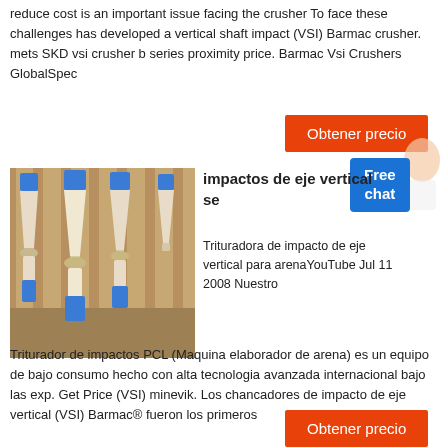reduce cost is an important issue facing the crusher To face these challenges has developed a vertical shaft impact (VSI) Barmac crusher. mets SKD vsi crusher b series proximity price. Barmac Vsi Crushers GlobalSpec
[Figure (photo): Photo of three cone/VSI crushers with blue bases and white/cream conical bodies, lined up in a warehouse setting]
impactos de eje vertical se
Trituradora de impacto de eje vertical para arenaYouTube Jul 11 2008 Nuestro Triturador de impactos PCL (Maquina elaborador de arena) es un equipo de bajo consumo hecho con alta tecnologia avanzada internacional bajo las exp. Get Price (VSI) minevik. Los chancadores de impacto de eje vertical (VSI) Barmac® fueron los primeros